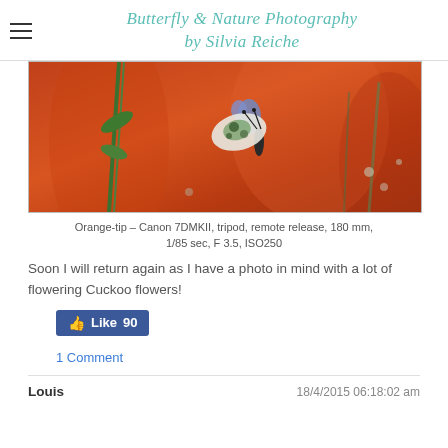Butterfly & Nature Photography by Silvia Reiche
[Figure (photo): Orange-tip butterfly on flowering plant against orange-red bokeh background]
Orange-tip – Canon 7DMKII, tripod, remote release, 180 mm, 1/85 sec, F 3.5, ISO250
Soon I will return again as I have a photo in mind with a lot of flowering Cuckoo flowers!
Like 90
1 Comment
Louis	18/4/2015 06:18:02 am